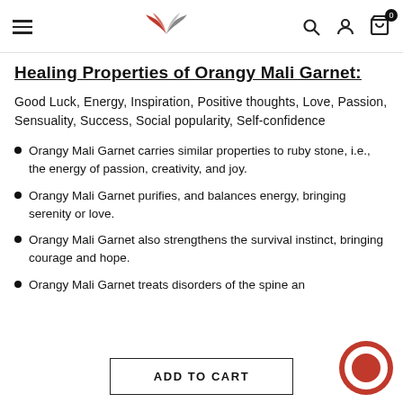Navigation header with hamburger menu, logo, search, account, and cart icons
Healing Properties of Orangy Mali Garnet:
Good Luck, Energy, Inspiration, Positive thoughts, Love, Passion, Sensuality, Success, Social popularity, Self-confidence
Orangy Mali Garnet carries similar properties to ruby stone, i.e., the energy of passion, creativity, and joy.
Orangy Mali Garnet purifies, and balances energy, bringing serenity or love.
Orangy Mali Garnet also strengthens the survival instinct, bringing courage and hope.
Orangy Mali Garnet treats disorders of the spine an…
ADD TO CART